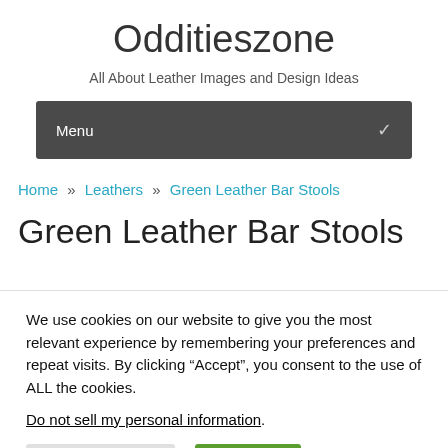Odditieszone
All About Leather Images and Design Ideas
Menu
Home » Leathers » Green Leather Bar Stools
Green Leather Bar Stools
We use cookies on our website to give you the most relevant experience by remembering your preferences and repeat visits. By clicking “Accept”, you consent to the use of ALL the cookies.
Do not sell my personal information.
Cookie Settings  Accept